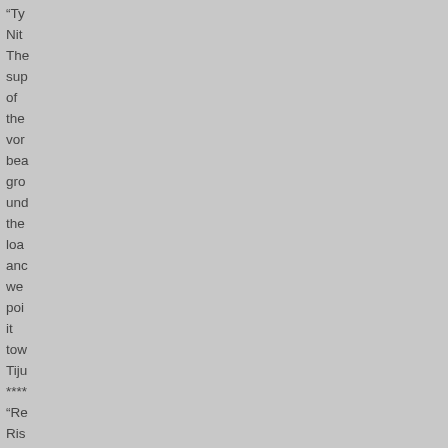"Ty
Nit
The
sup
of
the
vor
bea
gro
und
the
loa
anc
we
poi
it
tow
Tiju
****
"Re
Ris
Rej
Quid Nimis
"I think the reason I don't do Iowa Hawk everyday is the same reason I don't eat ice cream everyday: it's too good. That and the fact that I would have to leave my husband and stalk Dave Burge"
Investor's Business Daily
"hilarious and creative"
Tim Blair, Sydney Daily Telegraph (Australia)
"next year's Nobel economics winner"
Allahpundit, HotAir.com
I think Iowahawk speaks for all of us when he says: It's time for civility.
P.J. Geraghty
"Funniest Blogger on the Internet"
Jennifer Rubin, Commentary Magazine
"...there's lots more there to make you laugh. Or cry."
Snapped Shot
"comedic genius"
Letters from Glome
"funny, profane, funny, and witty. Did I mention funny? His mockery of the system, politics and flapdoodlery is dead on hilarious. A master"
Associated Content
selection, "10 Best Conservative Blogs"
Physics Geek
"I am truly in awe of what Iowahawk manages to do on a regular basis. If Mother Jones syndicated his column, I would subscribe to the commie pinko